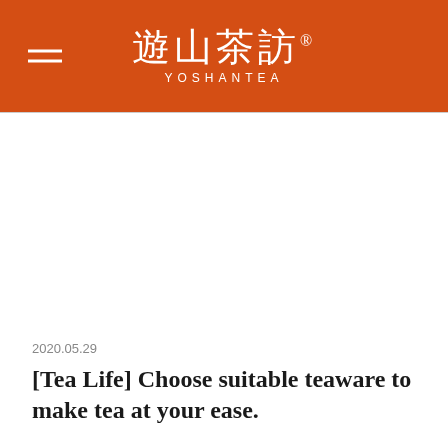遊山茶訪 YOSHANTEA
[Figure (photo): Large white/blank image area below the header navigation bar]
2020.05.29
[Tea Life] Choose suitable teaware to make tea at your ease.